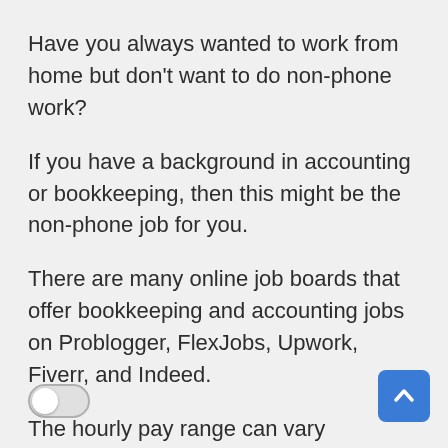Have you always wanted to work from home but don't want to do non-phone work?
If you have a background in accounting or bookkeeping, then this might be the non-phone job for you.
There are many online job boards that offer bookkeeping and accounting jobs on Problogger, FlexJobs, Upwork, Fiverr, and Indeed.
The hourly pay range can vary depending on your location and experience level, but most non-phone work at home jobs in this field will generally pay